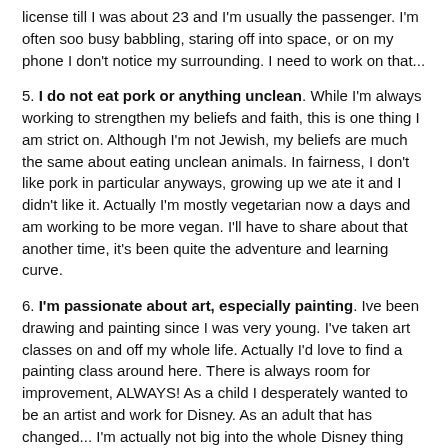license till I was about 23 and I'm usually the passenger. I'm often soo busy babbling, staring off into space, or on my phone I don't notice my surrounding. I need to work on that...
5. I do not eat pork or anything unclean. While I'm always working to strengthen my beliefs and faith, this is one thing I am strict on. Although I'm not Jewish, my beliefs are much the same about eating unclean animals. In fairness, I don't like pork in particular anyways, growing up we ate it and I didn't like it. Actually I'm mostly vegetarian now a days and am working to be more vegan. I'll have to share about that another time, it's been quite the adventure and learning curve.
6. I'm passionate about art, especially painting. Ive been drawing and painting since I was very young. I've taken art classes on and off my whole life. Actually I'd love to find a painting class around here. There is always room for improvement, ALWAYS! As a child I desperately wanted to be an artist and work for Disney. As an adult that has changed... I'm actually not big into the whole Disney thing other than watching their movies. I dabble in other mediums too but painting is what I always come back to. Someday I'd love to open up a little shop and sell paintings, mostly for fun and to